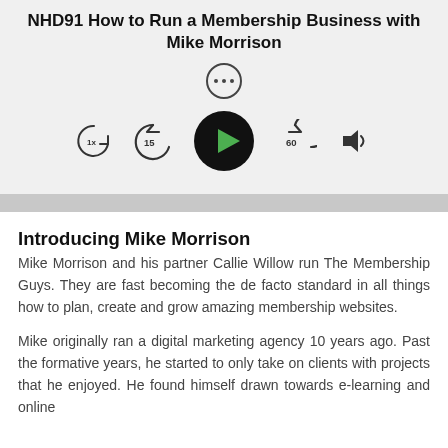NHD91 How to Run a Membership Business with Mike Morrison
[Figure (screenshot): Podcast player UI with title, more options button (three dots), playback controls: 1x speed, rewind 15s, play button, fast forward 60s, volume icon, and progress bar.]
Introducing Mike Morrison
Mike Morrison and his partner Callie Willow run The Membership Guys. They are fast becoming the de facto standard in all things how to plan, create and grow amazing membership websites.
Mike originally ran a digital marketing agency 10 years ago. Past the formative years, he started to only take on clients with projects that he enjoyed. He found himself drawn towards e-learning and online